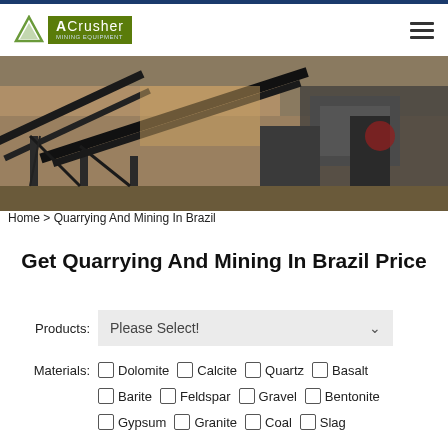[Figure (photo): Industrial quarrying/mining equipment with conveyor belts and large machinery at a quarry site]
Home > Quarrying And Mining In Brazil
Get Quarrying And Mining In Brazil Price
Products: Please Select!
Materials: Dolomite  Calcite  Quartz  Basalt  Barite  Feldspar  Gravel  Bentonite  Gypsum  Granite  Coal  Slag